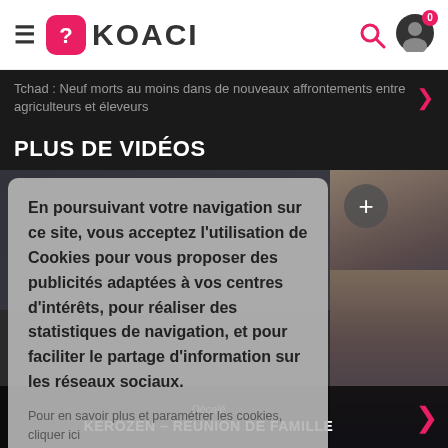KOACI
Tchad : Neuf morts au moins dans de nouveaux affrontements entre agriculteurs et éleveurs
PLUS DE VIDÉOS
En poursuivant votre navigation sur ce site, vous acceptez l'utilisation de Cookies pour vous proposer des publicités adaptées à vos centres d'intérêts, pour réaliser des statistiques de navigation, et pour faciliter le partage d'information sur les réseaux sociaux.
Pour en savoir plus et paramétrer les cookies, cliquer ici
J'accepte
Décalé
KEROZEN – REUNION DE FAMILLE